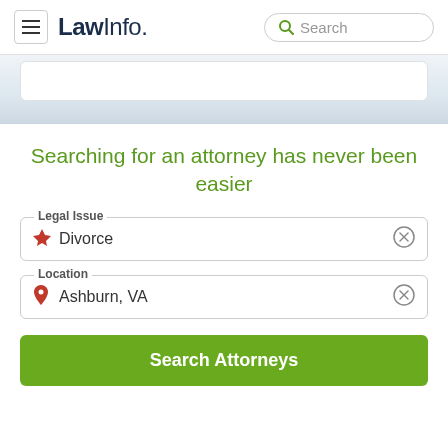LawInfo. Search
[Figure (screenshot): Blue-grey gradient banner area with a white card at top]
Searching for an attorney has never been easier
Legal Issue — Divorce
Location — Ashburn, VA
Search Attorneys